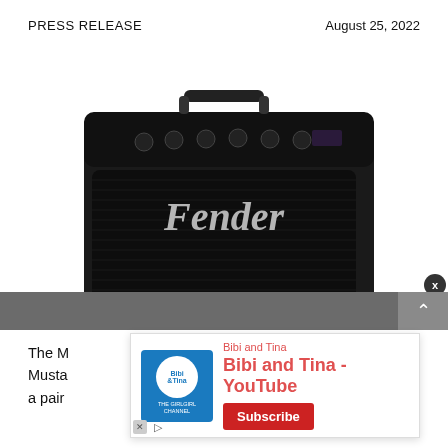PRESS RELEASE    August 25, 2022
[Figure (photo): Fender Mustang LT25 guitar amplifier, black, with carry handle on top, multiple control knobs, and Fender script logo on front grille.]
The M[ustang]... [p]opular Musta[ng]... [p]ower, a pair... rs.